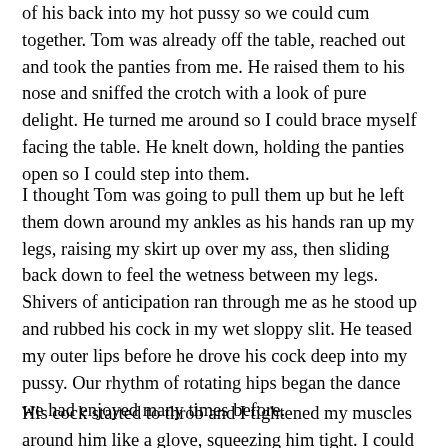of his back into my hot pussy so we could cum together. Tom was already off the table, reached out and took the panties from me. He raised them to his nose and sniffed the crotch with a look of pure delight. He turned me around so I could brace myself facing the table. He knelt down, holding the panties open so I could step into them.
I thought Tom was going to pull them up but he left them down around my ankles as his hands ran up my legs, raising my skirt up over my ass, then sliding back down to feel the wetness between my legs. Shivers of anticipation ran through me as he stood up and rubbed his cock in my wet sloppy slit. He teased my outer lips before he drove his cock deep into my pussy. Our rhythm of rotating hips began the dance we had enjoyed many times before.
His cock started to throb and I tightened my muscles around him like a glove, squeezing him tight. I could feel his pace...